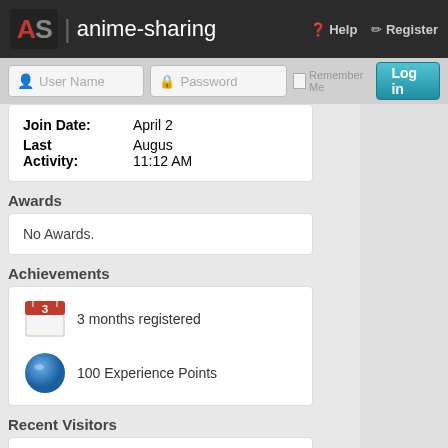anime-sharing | Help | Register
[Figure (screenshot): Login bar with User Name and Password fields, Remember Me checkbox, and Log in button]
| Field | Value |
| --- | --- |
| Join Date: | April 2 |
| Last Activity: | August 11:12 AM |
Awards
No Awards.
Achievements
3 months registered
100 Experience Points
Recent Visitors
The last 1 visitor(s) to this page were:
Jmusiccollaborate